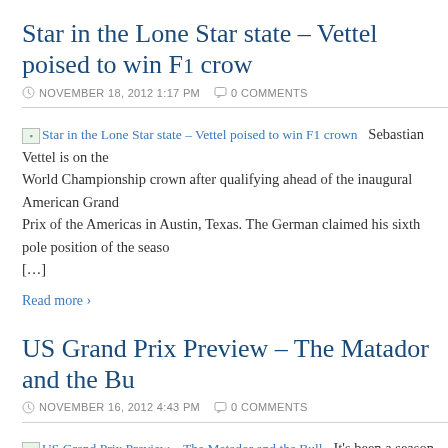Star in the Lone Star state – Vettel poised to win F1 crown
NOVEMBER 18, 2012 1:17 PM   0 COMMENTS
Sebastian Vettel is on the World Championship crown after qualifying ahead of the inaugural American Grand Prix of the Americas in Austin, Texas. The German claimed his sixth pole position of the season […]
Read more ›
US Grand Prix Preview – The Matador and the Bull
NOVEMBER 16, 2012 4:43 PM   0 COMMENTS
It's been a season long duel – its breathtaking climax. Eight months ago the Formula One season burst into life on Since then, the world's greatest drivers have done battle on five different continents,
Read more ›
Return of the Iceman